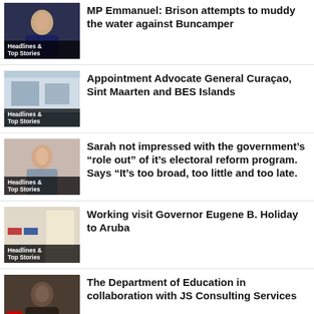[Figure (photo): Man in suit - news thumbnail with Headlines & Top Stories label]
MP Emmanuel: Brison attempts to muddy the water against Buncamper
[Figure (photo): Building exterior - news thumbnail with Headlines & Top Stories label]
Appointment Advocate General Curaçao, Sint Maarten and BES Islands
[Figure (photo): Woman portrait - news thumbnail with Headlines & Top Stories label]
Sarah not impressed with the government's “role out” of it’s electoral reform program. Says “It’s too broad, too little and too late.
[Figure (photo): Room with flags - news thumbnail with Headlines & Top Stories label]
Working visit Governor Eugene B. Holiday to Aruba
[Figure (photo): Man in suit portrait - news thumbnail]
The Department of Education in collaboration with JS Consulting Services